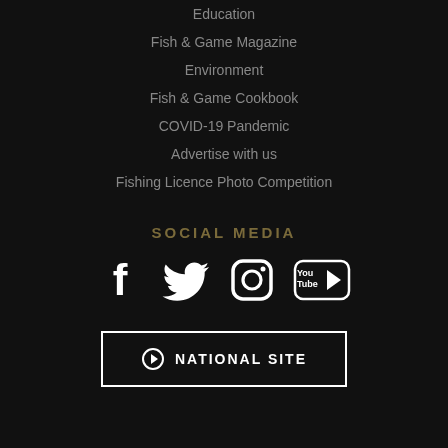Education
Fish & Game Magazine
Environment
Fish & Game Cookbook
COVID-19 Pandemic
Advertise with us
Fishing Licence Photo Competition
SOCIAL MEDIA
[Figure (infographic): Social media icons: Facebook, Twitter, Instagram, YouTube]
[Figure (infographic): National Site button with arrow circle icon and text NATIONAL SITE]